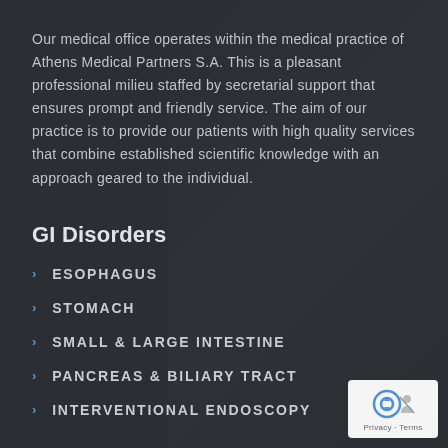Our medical office operates within the medical practice of Athens Medical Partners S.A. This is a pleasant professional milieu staffed by secretarial support that ensures prompt and friendly service. The aim of our practice is to provide our patients with high quality services that combine established scientific knowledge with an approach geared to the individual.
GI Disorders
ESOPHAGUS
STOMACH
SMALL & LARGE INTESTINE
PANCREAS & BILIARY TRACT
INTERVENTIONAL ENDOSCOPY